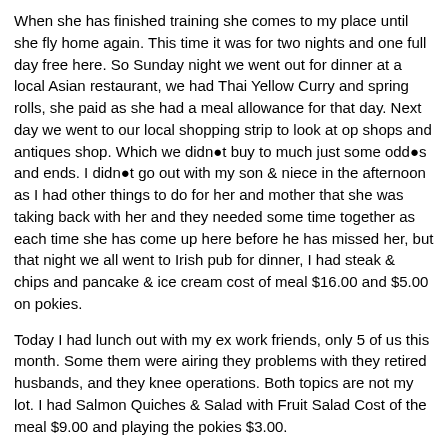When she has finished training she comes to my place until she fly home again. This time it was for two nights and one full day free here. So Sunday night we went out for dinner at a local Asian restaurant, we had Thai Yellow Curry and spring rolls, she paid as she had a meal allowance for that day. Next day we went to our local shopping strip to look at op shops and antiques shop. Which we didn●t buy to much just some odd●s and ends. I didn●t go out with my son & niece in the afternoon as I had other things to do for her and mother that she was taking back with her and they needed some time together as each time she has come up here before he has missed her, but that night we all went to Irish pub for dinner, I had steak & chips and pancake & ice cream cost of meal $16.00 and $5.00 on pokies.
Today I had lunch out with my ex work friends, only 5 of us this month. Some them were airing they problems with they retired husbands, and they knee operations. Both topics are not my lot. I had Salmon Quiches & Salad with Fruit Salad Cost of the meal $9.00 and playing the pokies $3.00.
I hope not to eat out again this month if I can help it.
No hotel or casino will ever make a lot of money from my style of gambling.
Eating out so far this week $25.00 and pokies $8.00 Strategy - If you got family heirlooms that you wish to give to your interstate relatives then give them some things to take home when you see them and have the joy of